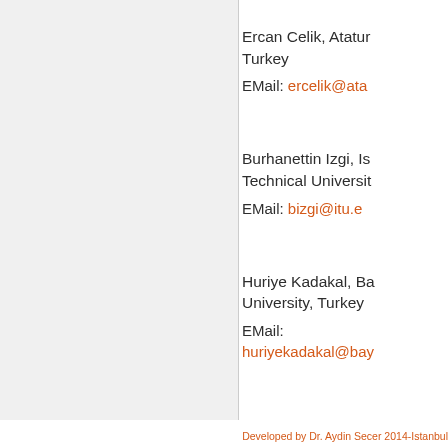Ercan Celik, Atatur... Turkey
EMail: ercelik@ata...
Burhanettin Izgi, Is... Technical Universit...
EMail: bizgi@itu.e...
Huriye Kadakal, Ba... University, Turkey
EMail: huriyekadakal@bay...
Developed by Dr. Aydin Secer 2014-Istanbul